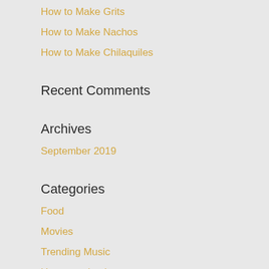How to Make Grits
How to Make Nachos
How to Make Chilaquiles
Recent Comments
Archives
September 2019
Categories
Food
Movies
Trending Music
Uncategorized
Meta